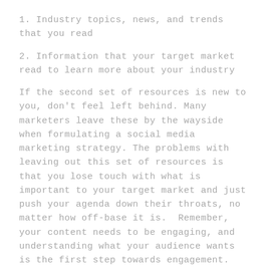1. Industry topics, news, and trends that you read
2. Information that your target market read to learn more about your industry
If the second set of resources is new to you, don't feel left behind. Many marketers leave these by the wayside when formulating a social media marketing strategy. The problems with leaving out this set of resources is that you lose touch with what is important to your target market and just push your agenda down their throats, no matter how off-base it is. Remember, your content needs to be engaging, and understanding what your audience wants is the first step towards engagement.
First, I want you to think about key problems that your product or service solves. Get a pad of paper and write down five or more problems that your product or services alleviate.